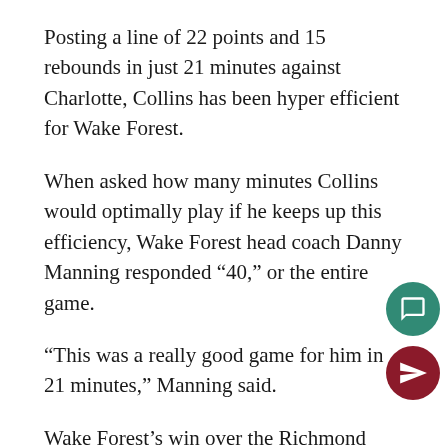Posting a line of 22 points and 15 rebounds in just 21 minutes against Charlotte, Collins has been hyper efficient for Wake Forest.
When asked how many minutes Collins would optimally play if he keeps up this efficiency, Wake Forest head coach Danny Manning responded ‘40,’ or the entire game.
“This was a really good game for him in 21 minutes,” Manning said.
Wake Forest’s win over the Richmond Spiders on Dec. 3 vaulted them to 6-2, and proved that the Deacons are at their best when the scoring load is shared.
Collins, graduate transfer Austin Arians, junior Konstantinos Mitoglou and redshift sophomore Keyshawn Woods all reached double figures in